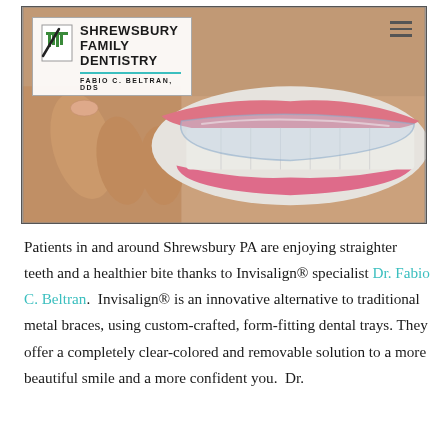[Figure (photo): Close-up photo of a person placing a clear Invisalign dental aligner tray into their mouth, showing teeth and lips. Overlaid with Shrewsbury Family Dentistry logo (including green tooth icon, teal underline, and 'Fabio C. Beltran, DDS' subtitle) in the upper left, and a hamburger menu icon in the upper right.]
Patients in and around Shrewsbury PA are enjoying straighter teeth and a healthier bite thanks to Invisalign® specialist Dr. Fabio C. Beltran.  Invisalign® is an innovative alternative to traditional metal braces, using custom-crafted, form-fitting dental trays. They offer a completely clear-colored and removable solution to a more beautiful smile and a more confident you.  Dr.